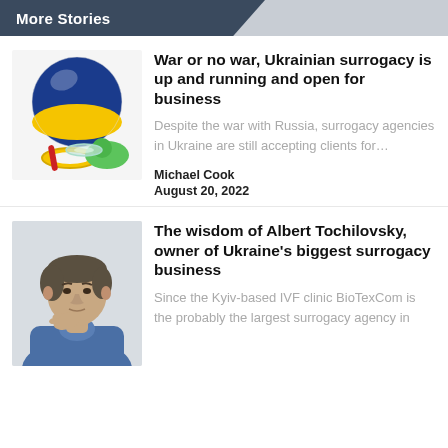More Stories
[Figure (photo): Photo of baby toys including a large blue and yellow sphere (Ukraine colors), a translucent ring toss toy, a yellow ring, and green toy pieces]
War or no war, Ukrainian surrogacy is up and running and open for business
Despite the war with Russia, surrogacy agencies in Ukraine are still accepting clients for…
Michael Cook
August 20, 2022
[Figure (photo): Photo of a middle-aged man with short hair in a blue jacket, resting his chin on his hand, looking thoughtful]
The wisdom of Albert Tochilovsky, owner of Ukraine's biggest surrogacy business
Since the Kyiv-based IVF clinic BioTexCom is the probably the largest surrogacy agency in